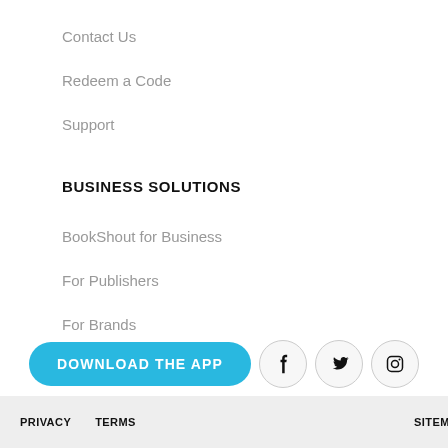Contact Us
Redeem a Code
Support
BUSINESS SOLUTIONS
BookShout for Business
For Publishers
For Brands
[Figure (other): Download the App button (cyan rounded rectangle) with Facebook, Twitter, and Instagram social media icon circles]
PRIVACY   TERMS   SITEMAP